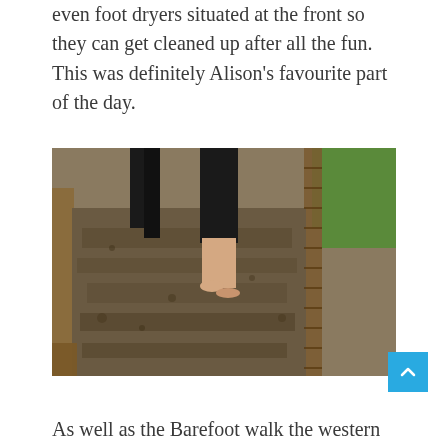even foot dryers situated at the front so they can get cleaned up after all the fun. This was definitely Alison's favourite part of the day.
[Figure (photo): Person walking barefoot through a muddy barefoot walk trail, bordered by wooden planks. Another person in black boots visible behind them. Green grass visible to the right.]
As well as the Barefoot walk the western